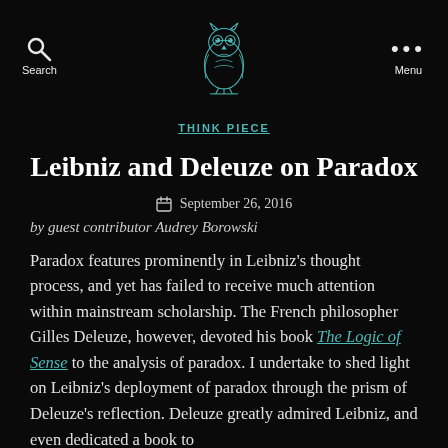Search | [Owl Logo] | Menu
THINK PIECE
Leibniz and Deleuze on Paradox
September 26, 2016
by guest contributor Audrey Borowski
Paradox features prominently in Leibniz's thought process, and yet has failed to receive much attention within mainstream scholarship. The French philosopher Gilles Deleuze, however, devoted his book The Logic of Sense to the analysis of paradox. I undertake to shed light on Leibniz's deployment of paradox through the prism of Deleuze's reflection. Deleuze greatly admired Leibniz, and even dedicated a book to